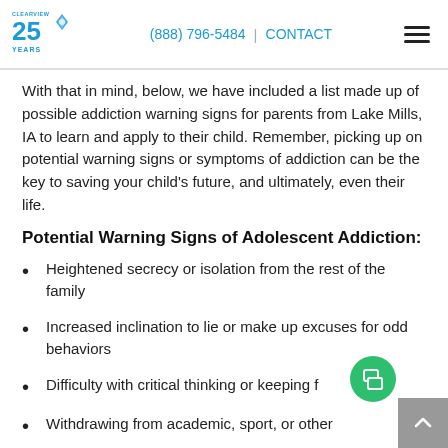Clearview 25 Years | (888) 796-5484 | CONTACT
With that in mind, below, we have included a list made up of possible addiction warning signs for parents from Lake Mills, IA to learn and apply to their child. Remember, picking up on potential warning signs or symptoms of addiction can be the key to saving your child's future, and ultimately, even their life.
Potential Warning Signs of Adolescent Addiction:
Heightened secrecy or isolation from the rest of the family
Increased inclination to lie or make up excuses for odd behaviors
Difficulty with critical thinking or keeping f…
Withdrawing from academic, sport, or other…